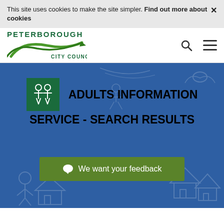This site uses cookies to make the site simpler. Find out more about cookies ×
[Figure (logo): Peterborough City Council logo with green swoosh/wave design and text]
ADULTS INFORMATION SERVICE - SEARCH RESULTS
We want your feedback